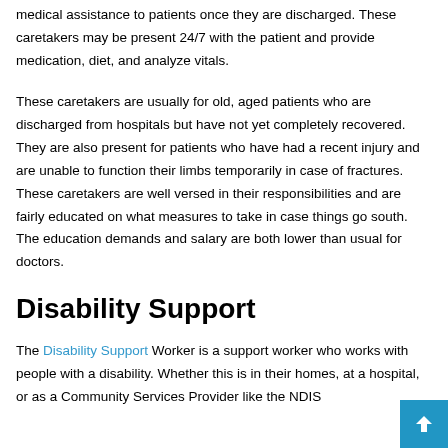medical assistance to patients once they are discharged. These caretakers may be present 24/7 with the patient and provide medication, diet, and analyze vitals.
These caretakers are usually for old, aged patients who are discharged from hospitals but have not yet completely recovered. They are also present for patients who have had a recent injury and are unable to function their limbs temporarily in case of fractures. These caretakers are well versed in their responsibilities and are fairly educated on what measures to take in case things go south. The education demands and salary are both lower than usual for doctors.
Disability Support
The Disability Support Worker is a support worker who works with people with a disability. Whether this is in their homes, at a hospital, or as a Community Services Provider like the NDIS